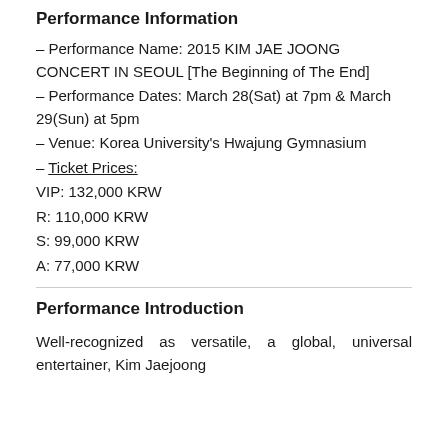Performance Information
– Performance Name: 2015 KIM JAE JOONG CONCERT IN SEOUL [The Beginning of The End]
– Performance Dates: March 28(Sat) at 7pm & March 29(Sun) at 5pm
– Venue: Korea University's Hwajung Gymnasium
– Ticket Prices:
VIP: 132,000 KRW
R: 110,000 KRW
S: 99,000 KRW
A: 77,000 KRW
Performance Introduction
Well-recognized as versatile, a global, universal entertainer, Kim Jaejoong